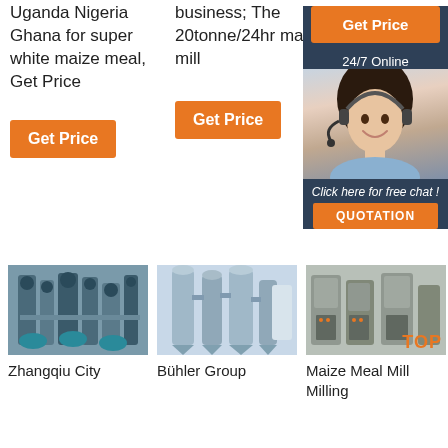Uganda Nigeria Ghana for super white maize meal, Get Price
business; The 20tonne/24hr maize mill
[Figure (other): Orange Get Price button (sidebar)]
[Figure (other): 24/7 Online support agent with headset illustration and chat widget with QUOTATION button]
Get Price
Get Price
[Figure (photo): Industrial grain milling machinery - Zhangqiu City]
Zhangqiu City
[Figure (photo): Industrial milling equipment - Bühler Group]
Bühler Group
[Figure (photo): Maize meal mill milling machinery]
Maize Meal Mill Milling